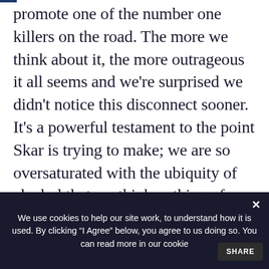promote one of the number one killers on the road. The more we think about it, the more outrageous it all seems and we're surprised we didn't notice this disconnect sooner. It's a powerful testament to the point Skar is trying to make; we are so oversaturated with the ubiquity of alcohol that we think nothing of associating a refreshing pint with driving. It'd be logical to assume we'd have no reservations about taking the next step and downing one before getting behind the wheel.
We use cookies to help our site work, to understand how it is used. By clicking "I Agree" below, you agree to us doing so. You can read more in our cookie